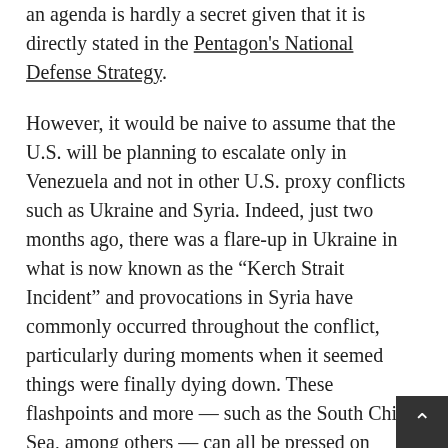an agenda is hardly a secret given that it is directly stated in the Pentagon's National Defense Strategy.
However, it would be naive to assume that the U.S. will be planning to escalate only in Venezuela and not in other U.S. proxy conflicts such as Ukraine and Syria. Indeed, just two months ago, there was a flare-up in Ukraine in what is now known as the “Kerch Strait Incident” and provocations in Syria have commonly occurred throughout the conflict, particularly during moments when it seemed things were finally dying down. These flashpoints and more — such as the South China Sea, among others — can all be pressed on rotation by the U.S. in an effort to disorient its Russian and Chinese rivals.
Thus, Venezuela may become host to the latest in what is now a series of proxy wars and flashpoints across the world that Washington has erected as part of its long-term goal of preventing the formation a multipolar world order. And it may quickly become the most dangerous